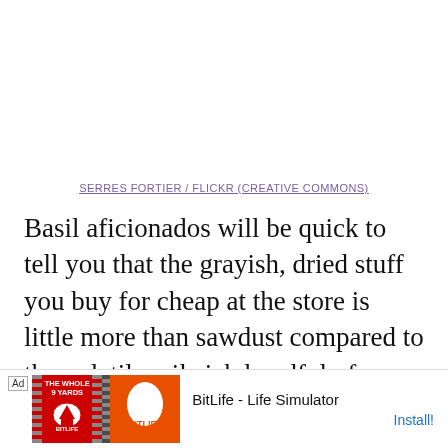SERRES FORTIER / FLICKR (CREATIVE COMMONS)
Basil aficionados will be quick to tell you that the grayish, dried stuff you buy for cheap at the store is little more than sawdust compared to the volatile, oil-rich handful of leaves straight from the garden. And if you too have experience growing and harvesting basil, you will quickly become a rightful snob and ruin your taste for anyth…
[Figure (screenshot): Mobile advertisement banner for BitLife - Life Simulator app, showing game icon, green/red striped background with jersey graphic, and Install button.]